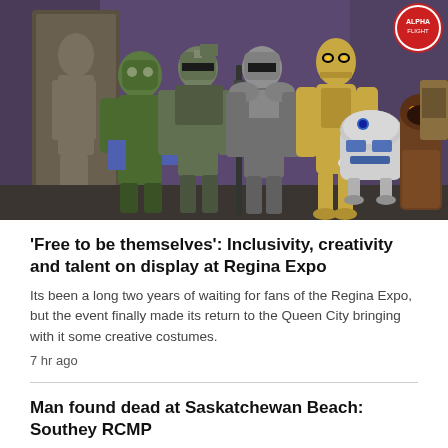[Figure (photo): Group of people in Star Wars costumes including Han Solo in carbonite, Boba Fett, Mandalorian warrior, C-3PO, R2-D2, and a Jawa, at the Regina Expo convention.]
'Free to be themselves': Inclusivity, creativity and talent on display at Regina Expo
Its been a long two years of waiting for fans of the Regina Expo, but the event finally made its return to the Queen City bringing with it some creative costumes.
7 hr ago
Man found dead at Saskatchewan Beach: Southey RCMP